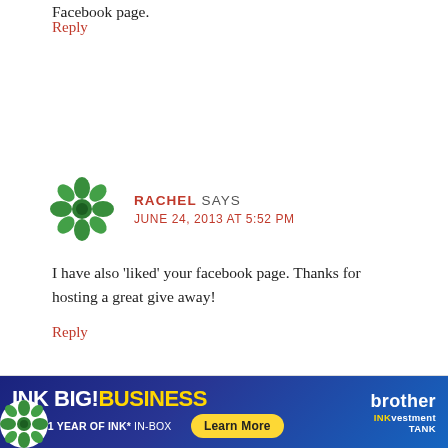Facebook page.
Reply
[Figure (illustration): Green decorative snowflake/cross pattern avatar icon for user Rachel]
RACHEL SAYS
JUNE 24, 2013 AT 5:52 PM
I have also 'liked' your facebook page. Thanks for hosting a great give away!
Reply
[Figure (illustration): Brother INK BIG! BUSINESS advertisement banner. Up to 1 year of ink* in-box. Learn More button. Brother INKvestment Tank logo.]